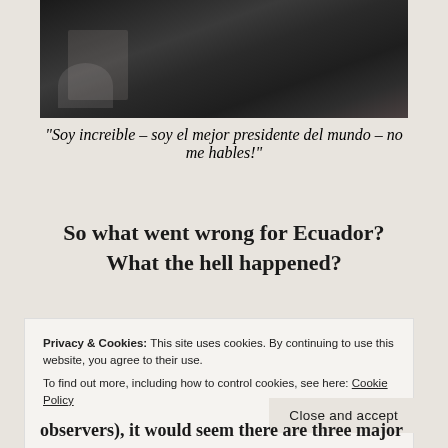[Figure (photo): A man in a dark suit seated in a chair, partially visible from mid-torso down, with a glass and cup on a table to the left.]
“Soy increible – soy el mejor presidente del mundo – no me hables!”
So what went wrong for Ecuador? What the hell happened?
Privacy & Cookies: This site uses cookies. By continuing to use this website, you agree to their use.
To find out more, including how to control cookies, see here: Cookie Policy
Close and accept
observers), it would seem there are three major